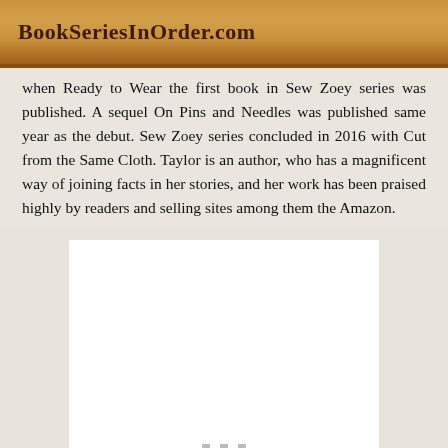BookSeriesInOrder.com
when Ready to Wear the first book in Sew Zoey series was published. A sequel On Pins and Needles was published same year as the debut. Sew Zoey series concluded in 2016 with Cut from the Same Cloth. Taylor is an author, who has a magnificent way of joining facts in her stories, and her work has been praised highly by readers and selling sites among them the Amazon.
[Figure (other): White image placeholder box with three small grey dots at the bottom center, likely a loading image or advertisement space.]